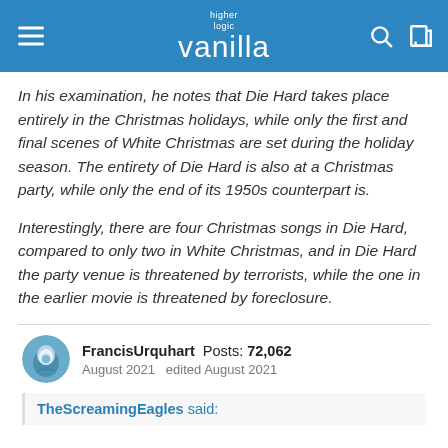higher logic vanilla
In his examination, he notes that Die Hard takes place entirely in the Christmas holidays, while only the first and final scenes of White Christmas are set during the holiday season. The entirety of Die Hard is also at a Christmas party, while only the end of its 1950s counterpart is.
Interestingly, there are four Christmas songs in Die Hard, compared to only two in White Christmas, and in Die Hard the party venue is threatened by terrorists, while the one in the earlier movie is threatened by foreclosure.
FrancisUrquhart Posts: 72,062 August 2021 edited August 2021
TheScreamingEagles said: